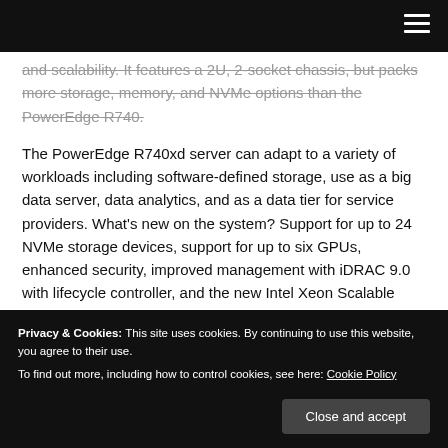and scalability. It features a 2U, 2-socket chassis, but packs more storage, memory, and NVMe options than the PowerEdge R740.
The PowerEdge R740xd server can adapt to a variety of workloads including software-defined storage, use as a big data server, data analytics, and as a data tier for service providers. What's new on the system? Support for up to 24 NVMe storage devices, support for up to six GPUs, enhanced security, improved management with iDRAC 9.0 with lifecycle controller, and the new Intel Xeon Scalable
that have an integrated insight display screen so you don't